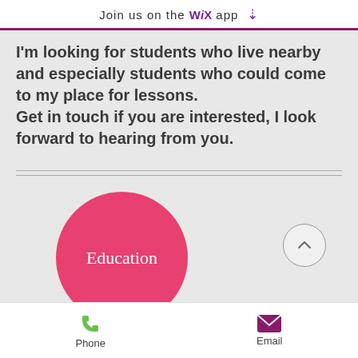Join us on the WiX app
I'm looking for students who live nearby and especially students who could come to my place for lessons.
Get in touch if you are interested, I look forward to hearing from you.
[Figure (infographic): Pink/red circle with text 'Education' and a circular up-arrow button]
Phone  Email